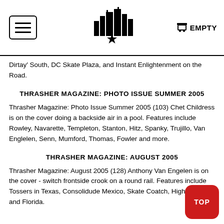EMPTY
Dirtay' South, DC Skate Plaza, and Instant Enlightenment on the Road.
THRASHER MAGAZINE: PHOTO ISSUE SUMMER 2005
Thrasher Magazine: Photo Issue Summer 2005 (103) Chet Childress is on the cover doing a backside air in a pool. Features include Rowley, Navarette, Templeton, Stanton, Hitz, Spanky, Trujillo, Van Englelen, Senn, Mumford, Thomas, Fowler and more.
THRASHER MAGAZINE: AUGUST 2005
Thrasher Magazine: August 2005 (128) Anthony Van Engelen is on the cover - switch frontside crook on a round rail. Features include Tossers in Texas, Consolidude Mexico, Skate Coatch, Hightower, and Florida.